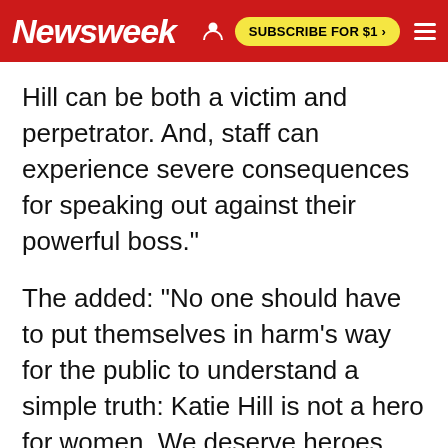Newsweek | SUBSCRIBE FOR $1 >
Hill can be both a victim and perpetrator. And, staff can experience severe consequences for speaking out against their powerful boss."
The added: "No one should have to put themselves in harm's way for the public to understand a simple truth: Katie Hill is not a hero for women. We deserve heroes who embody our values even in the most difficult moments."
The tweets state that Hill took advantage of